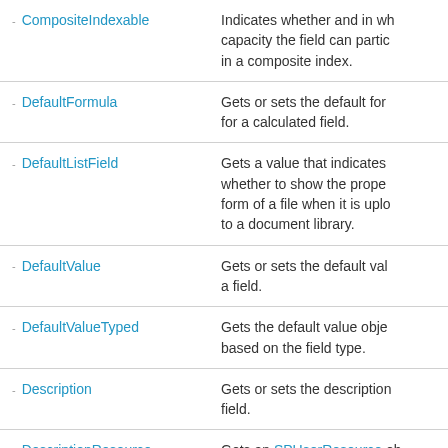| Name | Description |
| --- | --- |
| CompositeIndexable | Indicates whether and in wh capacity the field can partic in a composite index. |
| DefaultFormula | Gets or sets the default for for a calculated field. |
| DefaultListField | Gets a value that indicates whether to show the prope form of a file when it is uplo to a document library. |
| DefaultValue | Gets or sets the default val a field. |
| DefaultValueTyped | Gets the default value obje based on the field type. |
| Description | Gets or sets the description field. |
| DescriptionResource | Gets an SPUserResource ob |